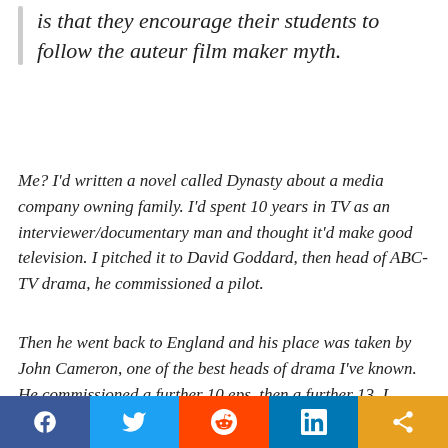is that they encourage their students to follow the auteur film maker myth.
Me?  I'd written a novel called Dynasty about a media company owning family.  I'd spent 10 years in TV as an interviewer/documentary man and thought it'd make good television.  I pitched it to David Goddard, then head of ABC-TV drama, he commissioned a pilot.
Then he went back to England and his place was taken by John Cameron, one of the best heads of drama I've known.  He commissioned a further 10 eps, then a further 13. I really learned TV writing on those series, primarily from Glyn Davies. He was my
[Figure (other): Social sharing bar with Facebook, Twitter, Reddit, LinkedIn, and share buttons]